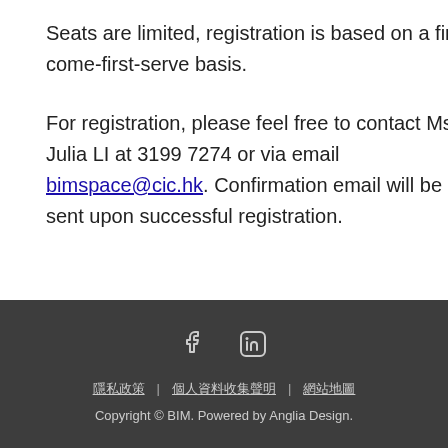Seats are limited, registration is based on a first-come-first-serve basis.
For registration, please feel free to contact Ms. Julia LI at 3199 7274 or via email bimspace@cic.hk. Confirmation email will be sent upon successful registration.
: 2020-09-07 17:20:0
Copyright © BIM. Powered by Anglia Design.